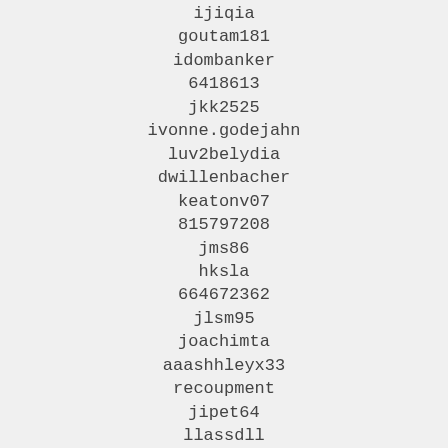ijiqia
goutam181
idombanker
6418613
jkk2525
ivonne.godejahn
luv2belydia
dwillenbacher
keatonv07
815797208
jms86
hksla
664672362
jlsm95
joachimta
aaashhleyx33
recoupment
jipet64
llassdll
gtnh2
docasterd1980
826117342
ehsteeltube782
hvolkmar
divorchnied0